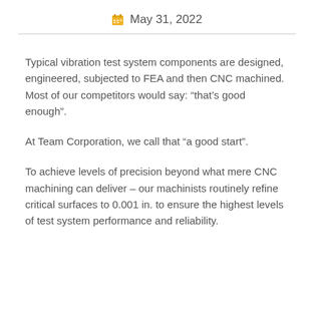May 31, 2022
Typical vibration test system components are designed, engineered, subjected to FEA and then CNC machined. Most of our competitors would say: “that’s good enough”.
At Team Corporation, we call that “a good start”.
To achieve levels of precision beyond what mere CNC machining can deliver – our machinists routinely refine critical surfaces to 0.001 in. to ensure the highest levels of test system performance and reliability.